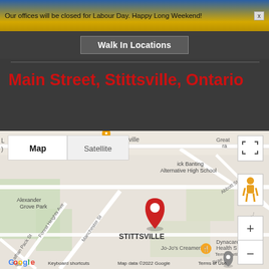Our offices will be closed for Labour Day. Happy Long Weekend!
Walk In Locations
Main Street, Stittsville, Ontario
[Figure (map): Google Map showing a red location pin dropped on Main Street in Stittsville, Ontario. The map shows surrounding streets including Abbott St E, Orville St, Brae Cres, Manchester St, Forest Heights Ave. Nearby landmarks include Alexander Grove Park, Donuts Stittsville, Frederick Banting Alternative High School, Jo-Jo's Creameria, Dynacare Health S. Map controls include Map/Satellite toggle, fullscreen button, Street View person icon, and zoom +/- buttons. Google logo and map attribution visible at bottom.]